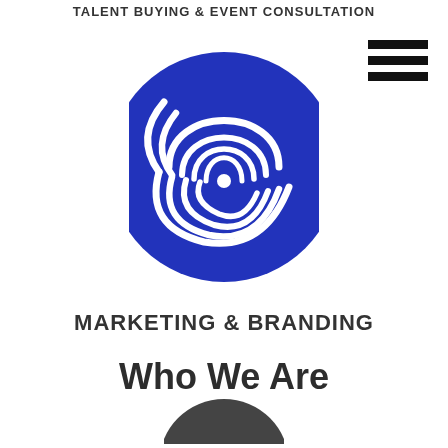TALENT BUYING & EVENT CONSULTATION
[Figure (logo): Blue circular logo with white fingerprint/spiral swirl design on dark blue background]
MARKETING & BRANDING
Who We Are
[Figure (logo): Partially visible logo at bottom of page]